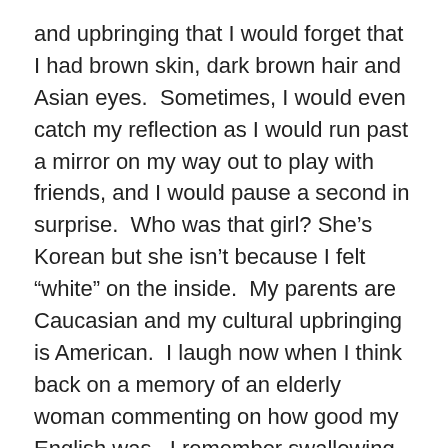and upbringing that I would forget that I had brown skin, dark brown hair and Asian eyes.  Sometimes, I would even catch my reflection as I would run past a mirror on my way out to play with friends, and I would pause a second in surprise.  Who was that girl? She's Korean but she isn't because I felt “white” on the inside.  My parents are Caucasian and my cultural upbringing is American.  I laugh now when I think back on a memory of an elderly woman commenting on how good my English was.  I remember swallowing the compliment and feeling heat rising in my neck, but I was too annoyed to offer an explanation.  Often, I would get asked “where are you from?” and I would respond, “Michigan” with an emphasis on don’t ask me any more questions.
On the rare occasions that I had an opportunity to interact with other Koreans, there was a hope of